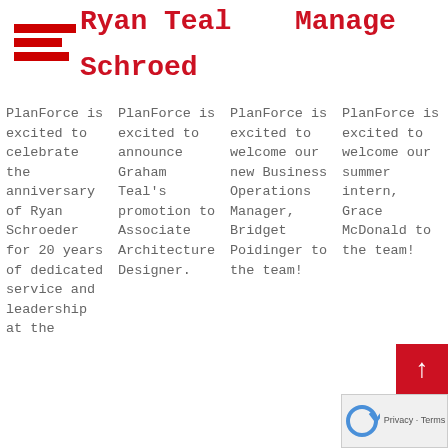[Figure (logo): PlanForce logo: three horizontal red bars stacked]
Ryan Teal
Manage
Schroed
PlanForce is excited to celebrate the anniversary of Ryan Schroeder for 20 years of dedicated service and leadership at the
PlanForce is excited to announce Graham Teal's promotion to Associate Architecture Designer.
PlanForce is excited to welcome our new Business Operations Manager, Bridget Poidinger to the team!
PlanForce is excited to welcome our summer intern, Grace McDonald to the team!